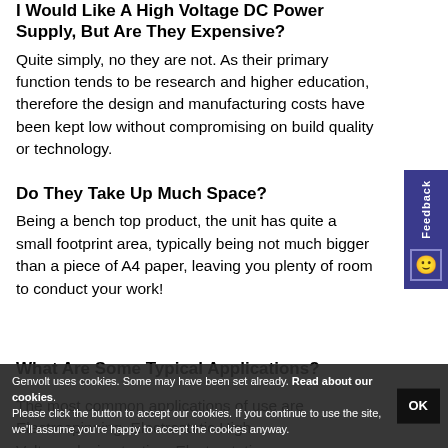I Would Like A High Voltage DC Power Supply, But Are They Expensive?
Quite simply, no they are not. As their primary function tends to be research and higher education, therefore the design and manufacturing costs have been kept low without compromising on build quality or technology.
Do They Take Up Much Space?
Being a bench top product, the unit has quite a small footprint area, typically being not much bigger than a piece of A4 paper, leaving you plenty of room to conduct your work!
What Are Some Typical Applications?
The most common applications of use are Electrospinning, Electrostatic High Voltage device testing, Electrostatic
Genvolt uses cookies. Some may have been set already. Read about our cookies. Please click the button to accept our cookies. If you continue to use the site, we'll assume you're happy to accept the cookies anyway.